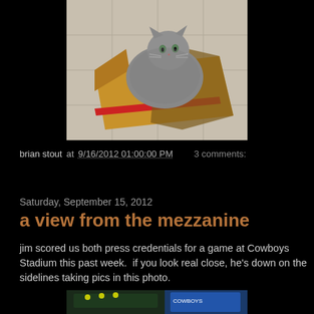[Figure (photo): A fluffy grey cat sitting inside a cardboard box on a tiled floor, viewed from above.]
brian stout at 9/16/2012 01:00:00 PM    3 comments:
Share
Saturday, September 15, 2012
a view from the mezzanine
jim scored us both press credentials for a game at Cowboys Stadium this past week.  if you look real close, he's down on the sidelines taking pics in this photo.
[Figure (photo): Partial view of a sports stadium photo, bottom of page.]